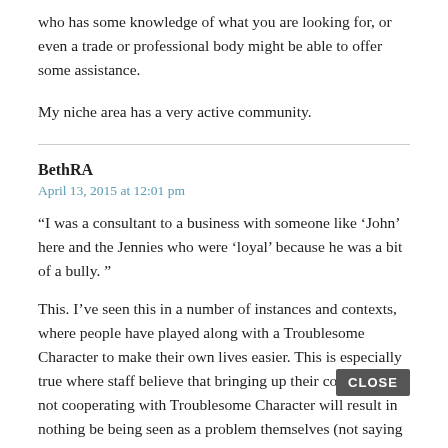who has some knowledge of what you are looking for, or even a trade or professional body might be able to offer some assistance.
My niche area has a very active community.
BethRA
April 13, 2015 at 12:01 pm
“I was a consultant to a business with someone like ‘John’ here and the Jennies who were ‘loyal’ because he was a bit of a bully. ”
This. I’ve seen this in a number of instances and contexts, where people have played along with a Troublesome Character to make their own lives easier. This is especially true where staff believe that bringing up their concerns, or not cooperating with Troublesome Character will result in nothing be being seen as a problem themselves (not saying that’s what’s…